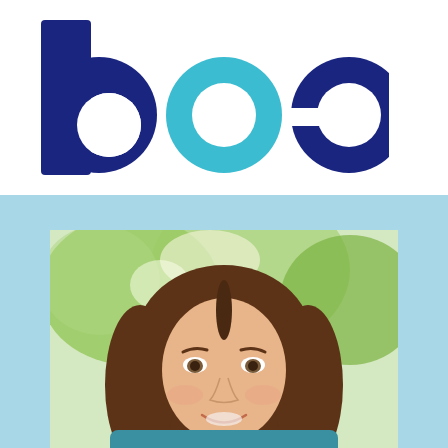[Figure (logo): Three large circular letter shapes forming a logo: a dark navy 'b', a teal/medium blue 'o', and a dark navy 'e' arranged horizontally on a white background]
[Figure (photo): Portrait photo of a young woman with long brown hair, smiling, outdoors with green trees in the background. Light blue border/background surrounds the photo.]